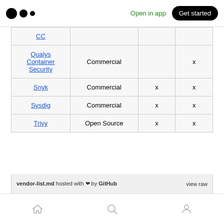Open in app | Get started
| Tool | License | Col3 | Col4 |
| --- | --- | --- | --- |
| CC |  |  |  |
| Qualys Container Security | Commercial |  | x |
| Snyk | Commercial | x | x |
| Sysdig | Commercial | x | x |
| Trivy | Open Source | x | x |
vendor-list.md hosted with ❤ by GitHub   view raw
Home | Search | Profile